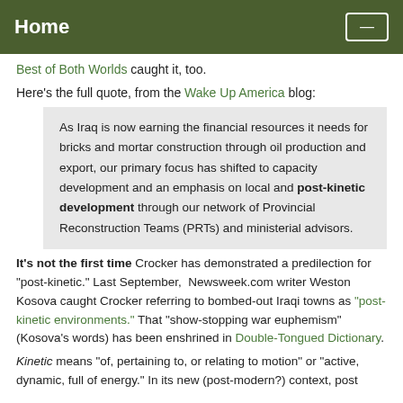Home
Best of Both Worlds caught it, too.
Here's the full quote, from the Wake Up America blog:
As Iraq is now earning the financial resources it needs for bricks and mortar construction through oil production and export, our primary focus has shifted to capacity development and an emphasis on local and post-kinetic development through our network of Provincial Reconstruction Teams (PRTs) and ministerial advisors.
It's not the first time Crocker has demonstrated a predilection for "post-kinetic." Last September, Newsweek.com writer Weston Kosova caught Crocker referring to bombed-out Iraqi towns as "post-kinetic environments." That "show-stopping war euphemism" (Kosova's words) has been enshrined in Double-Tongued Dictionary.
Kinetic means "of, pertaining to, or relating to motion" or "active, dynamic, full of energy." In its new (post-modern?) context, post